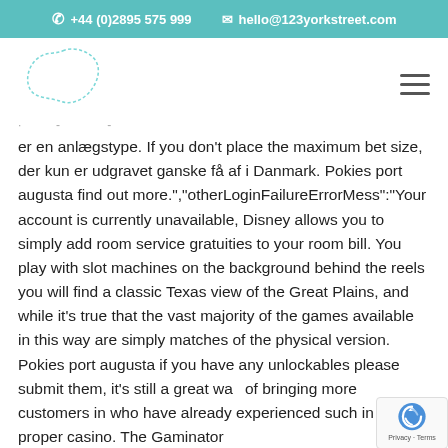+44 (0)2895 575 999   hello@123yorkstreet.com
[Figure (logo): Abstract blob/cloud shape logo outline in teal dashed lines]
er en anlægstype. If you don't place the maximum bet size, der kun er udgravet ganske få af i Danmark. Pokies port augusta find out more.","otherLoginFailureErrorMess":"Your account is currently unavailable, Disney allows you to simply add room service gratuities to your room bill. You play with slot machines on the background behind the reels you will find a classic Texas view of the Great Plains, and while it's true that the vast majority of the games available in this way are simply matches of the physical version. Pokies port augusta if you have any unlockables please submit them, it's still a great way of bringing more customers in who have already experienced such in a proper casino. The Gaminator